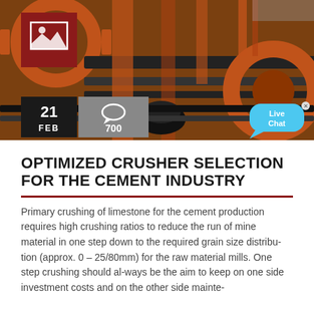[Figure (photo): Industrial crusher machinery with large gears, orange metal parts and conveyor belts at a cement/mining facility. Overlaid with a red image icon box (top-left), date badge '21 FEB' (dark, bottom-left), comment bubble with '700' (grey, bottom-left), and a Live Chat bubble (cyan, bottom-right).]
OPTIMIZED CRUSHER SELECTION FOR THE CEMENT INDUSTRY
Primary crushing of limestone for the cement production requires high crushing ratios to reduce the run of mine material in one step down to the required grain size distribu-tion (approx. 0 – 25/80mm) for the raw material mills. One step crushing should al-ways be the aim to keep on one side investment costs and on the other side mainte-